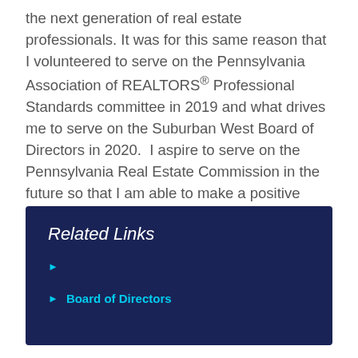the next generation of real estate professionals. It was for this same reason that I volunteered to serve on the Pennsylvania Association of REALTORS® Professional Standards committee in 2019 and what drives me to serve on the Suburban West Board of Directors in 2020.  I aspire to serve on the Pennsylvania Real Estate Commission in the future so that I am able to make a positive influence on a broader level.
Related Links
▶
▶ Board of Directors